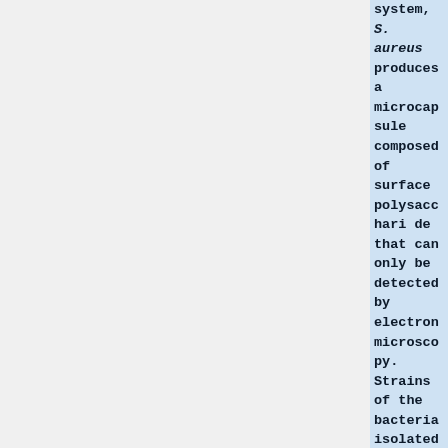system, S. aureus produces a microcapsule composed of surface polysaccharide that can only be detected by electron microscopy. Strains of the bacteria isolated from infections have been found to produce this capsule in